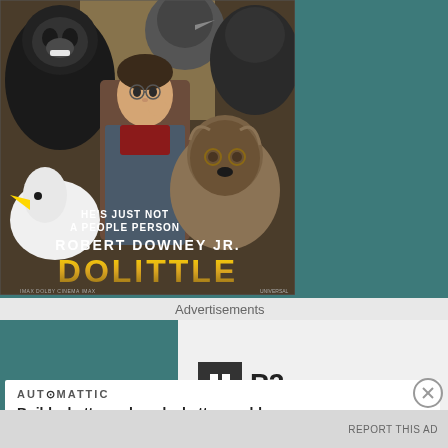[Figure (photo): Movie poster for 'Dolittle' featuring Robert Downey Jr. surrounded by animals including a gorilla, duck, and shaggy dog. Text reads 'HE'S JUST NOT A PEOPLE PERSON', 'ROBERT DOWNEY JR.', 'DOLITTLE']
Advertisements
[Figure (logo): P2 logo — dark square icon with grid pattern next to bold text 'P2']
AUTOMATTIC
Build a better web and a better world.
REPORT THIS AD